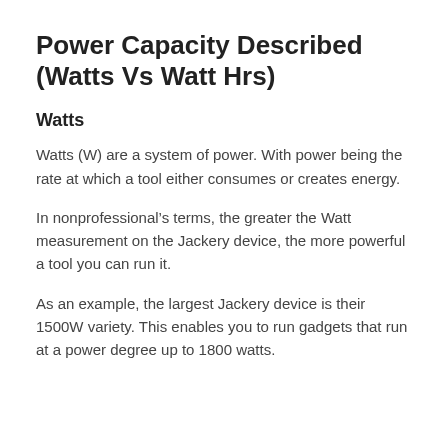Power Capacity Described (Watts Vs Watt Hrs)
Watts
Watts (W) are a system of power. With power being the rate at which a tool either consumes or creates energy.
In nonprofessional’s terms, the greater the Watt measurement on the Jackery device, the more powerful a tool you can run it.
As an example, the largest Jackery device is their 1500W variety. This enables you to run gadgets that run at a power degree up to 1800 watts.